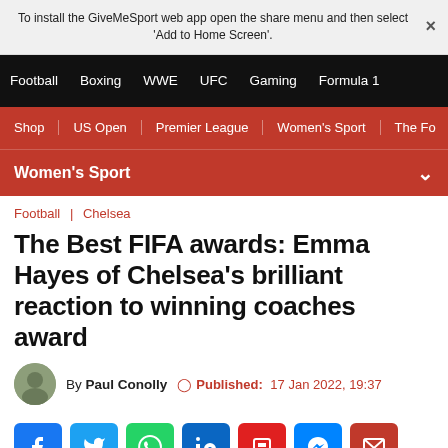To install the GiveMeSport web app open the share menu and then select 'Add to Home Screen'.
Football | Boxing | WWE | UFC | Gaming | Formula 1
Shop | US Open | Premier League | Women's Sport | The Fo
Women's Sport
Football | Chelsea
The Best FIFA awards: Emma Hayes of Chelsea's brilliant reaction to winning coaches award
By Paul Conolly   Published: 17 Jan 2022, 19:37